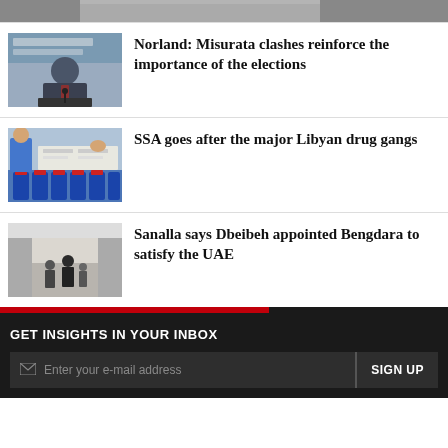[Figure (photo): Partial top strip of an image, cropped]
[Figure (photo): Man in suit speaking at a podium with Arabic text banners in background]
Norland: Misurata clashes reinforce the importance of the elections
[Figure (photo): Blue containers and papers on a table with people in blue uniforms]
SSA goes after the major Libyan drug gangs
[Figure (photo): People walking in a modern corridor building]
Sanalla says Dbeibeh appointed Bengdara to satisfy the UAE
GET INSIGHTS IN YOUR INBOX
Enter your e-mail address
SIGN UP